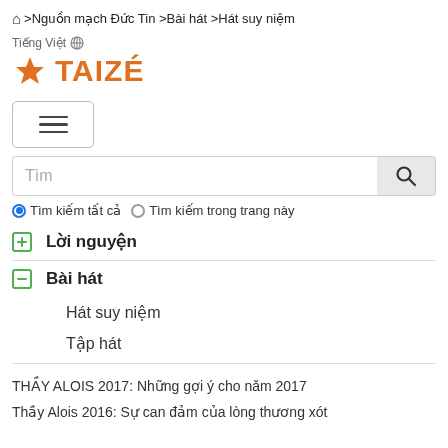🏠 >Nguồn mạch Đức Tin >Bài hát >Hát suy niệm
[Figure (logo): Taizé logo with orange star/cross icon and orange bold text 'TAIZÉ', with 'Tiếng Việt' language label above]
[Figure (other): Hamburger menu button with three horizontal lines inside a rounded rectangle border]
Tìm
Tìm kiếm tất cả  Tìm kiếm trong trang này
Lời nguyện
Bài hát
Hát suy niệm
Tập hát
THẦY ALOIS 2017: Những gợi ý cho năm 2017
Thầy Alois 2016: Sự can đảm của lòng thương xót